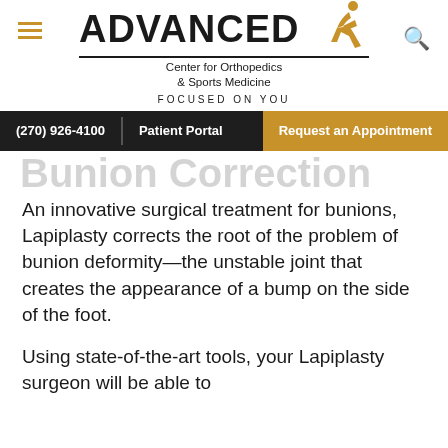[Figure (logo): Advanced Center for Orthopedics & Sports Medicine logo with runner graphic and tagline FOCUSED ON YOU]
(270) 926-4100 | Patient Portal | Request an Appointment
Bunion Correction
An innovative surgical treatment for bunions, Lapiplasty corrects the root of the problem of bunion deformity—the unstable joint that creates the appearance of a bump on the side of the foot.
Using state-of-the-art tools, your Lapiplasty surgeon will be able to